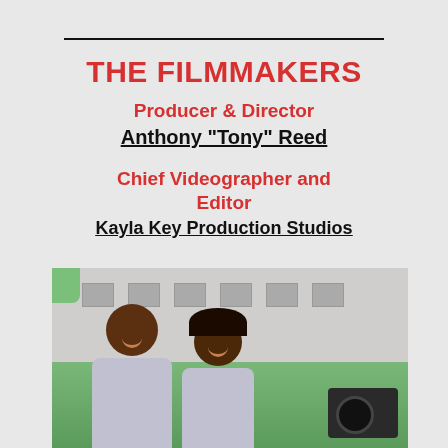THE FILMMAKERS
Producer & Director
Anthony "Tony" Reed
Chief Videographer and Editor
Kayla Key Production Studios
[Figure (photo): Two people smiling outdoors in front of a white building, both wearing light gray t-shirts. A camera is visible on the right side. One person is taller (left) and one shorter (right).]